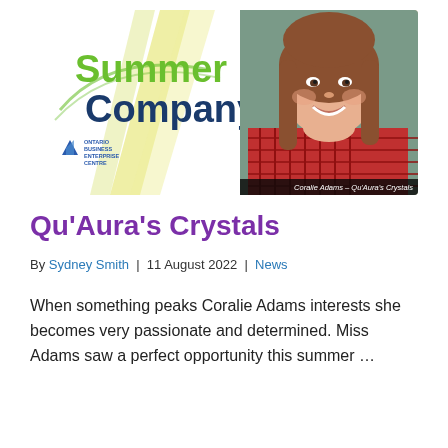[Figure (photo): Summer Company banner with logo on left side (green 'Summer' and dark blue 'Company' text over yellow ray graphic, Business Enterprise Centre logo below), and photo of Coralie Adams (young woman with long brown hair, smiling, wearing red plaid shirt) on right side. Black caption bar reads 'Coralie Adams – Qu'Aura's Crystals'.]
Qu'Aura's Crystals
By Sydney Smith | 11 August 2022 | News
When something peaks Coralie Adams interests she becomes very passionate and determined. Miss Adams saw a perfect opportunity this summer …